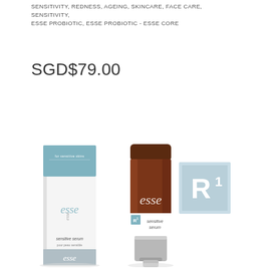SENSITIVITY, REDNESS, AGEING, SKINCARE, FACE CARE, SENSITIVITY, ESSE PROBIOTIC, ESSE PROBIOTIC - ESSE CORE
SGD$79.00
[Figure (photo): Esse Sensitive Serum product photo showing a brown tube with silver cap and its white packaging box with teal/blue-grey branding. The box features 'esse' script logo and 'sensitive serum' text. The tube also displays 'esse' logo and 'sensitive serum' label with an R1 badge.]
[Figure (logo): R1 badge - square with light blue/grey border and background, showing R superscript 1 in white lettering]